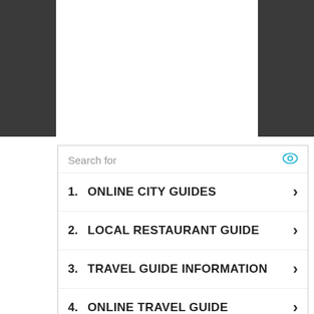[Figure (screenshot): Dark grey panels on left and right sides of upper portion of page]
Search for
1. ONLINE CITY GUIDES
2. LOCAL RESTAURANT GUIDE
3. TRAVEL GUIDE INFORMATION
4. ONLINE TRAVEL GUIDE
5. BEST TRAVEL GUIDES
Ad | Glocal Search